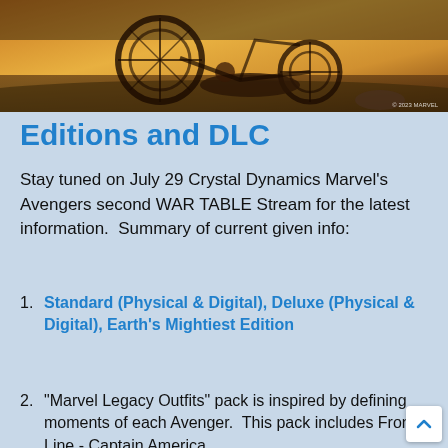[Figure (photo): Top portion of a photo showing a person near a bicycle/tricycle on a road at golden hour, with copyright watermark '© 2023 MARVEL' in bottom right corner]
Editions and DLC
Stay tuned on July 29 Crystal Dynamics Marvel's Avengers second WAR TABLE Stream for the latest information.  Summary of current given info:
Standard (Physical & Digital), Deluxe (Physical & Digital), Earth's Mightiest Edition
"Marvel Legacy Outfits" pack is inspired by defining moments of each Avenger.  This pack includes Front Line - Captain America